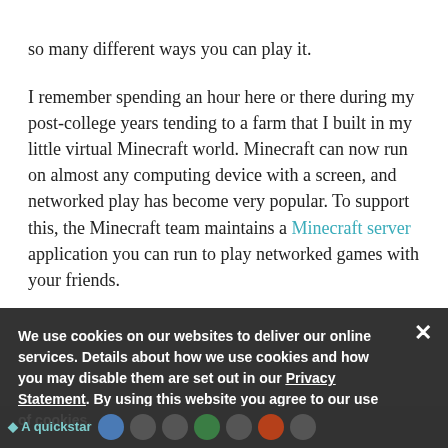so many different ways you can play it.
I remember spending an hour here or there during my post-college years tending to a farm that I built in my little virtual Minecraft world. Minecraft can now run on almost any computing device with a screen, and networked play has become very popular. To support this, the Minecraft team maintains a Minecraft server application you can run to play networked games with your friends.
Where does Ansible fit in?
We use cookies on our websites to deliver our online services. Details about how we use cookies and how you may disable them are set out in our Privacy Statement. By using this website you agree to our use of cookies.